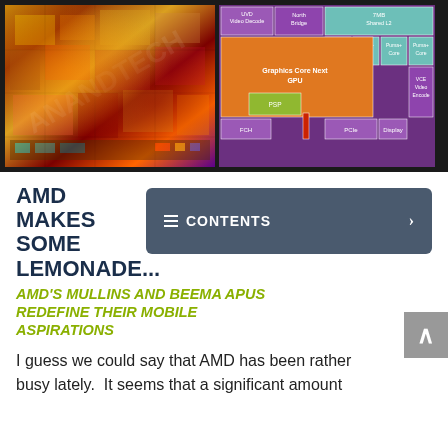[Figure (photo): Left half: microscope photo of AMD APU chip die showing colorful circuit structures in orange, gold, red, purple tones. Right half: block diagram of AMD APU die showing labeled functional blocks: UVD Video Decode, North Bridge, 7MB Shared L2, four Puma+ Core blocks, Graphics Core Next GPU, VCE Video Encode, PSP, FCH, PCIe, Display.]
AMD MAKES SOME LEMONADE... AMD'S MULLINS AND BEEMA APUS REDEFINE THEIR MOBILE ASPIRATIONS
I guess we could say that AMD has been rather busy lately. It seems that a significant amount